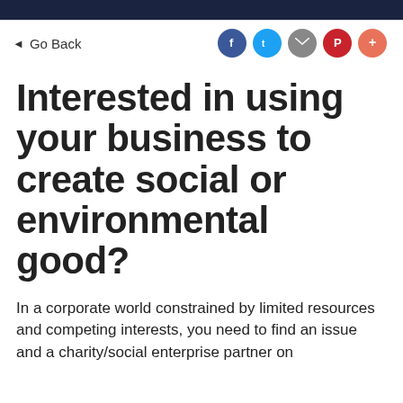Go Back
Interested in using your business to create social or environmental good?
In a corporate world constrained by limited resources and competing interests, you need to find an issue and a charity/social enterprise partner on